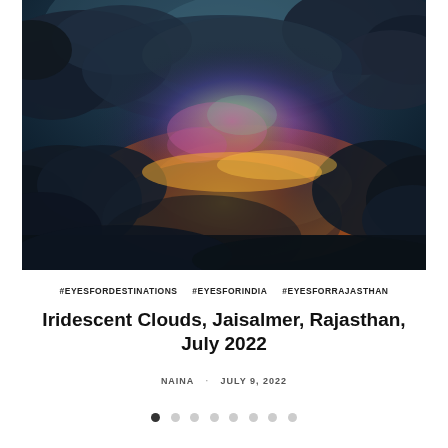[Figure (photo): Dramatic photograph of iridescent clouds at dusk or twilight over Jaisalmer, Rajasthan. The sky is a deep teal-blue with large dark storm clouds. In the center, vivid iridescent colors — pink, magenta, green — glow within the clouds, and orange-gold light illuminates the lower cloud edges, suggesting a hidden sun beneath. The overall mood is dramatic and moody.]
#EYESFORDESTINATIONS   #EYESFORINDIA   #EYESFORRAJASTHAN
Iridescent Clouds, Jaisalmer, Rajasthan, July 2022
NAINA · JULY 9, 2022